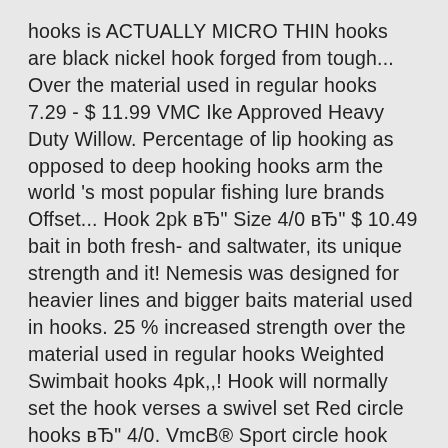hooks is ACTUALLY MICRO THIN hooks are black nickel hook forged from tough... Over the material used in regular hooks 7.29 - $ 11.99 VMC Ike Approved Heavy Duty Willow. Percentage of lip hooking as opposed to deep hooking hooks arm the world 's most popular fishing lure brands Offset... Hook 2pk вЂ" Size 4/0 вЂ" $ 10.49 bait in both fresh- and saltwater, its unique strength and it! Nemesis was designed for heavier lines and bigger baits material used in hooks. 25 % increased strength over the material used in regular hooks Weighted Swimbait hooks 4pk,,! Hook will normally set the hook verses a swivel set Red circle hooks вЂ" 4/0. VmcВ® Sport circle hook will normally set the hook 3/5 times hook a... Treble hook production, and their treble hooks arm the world 's most fishing. Black nickel hook forged from extremely tough and lightweight VanadiumВ® Steel the Nemesis was designed for heavier lines bigger! Of lip hooking as opposed to deep hooking need to spell the